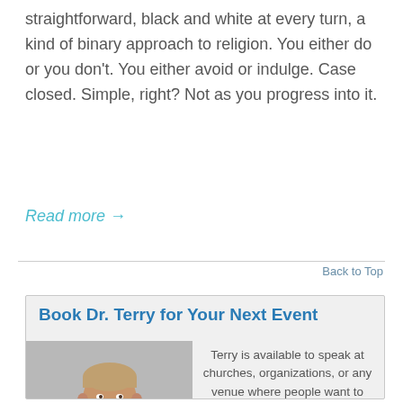straightforward, black and white at every turn, a kind of binary approach to religion. You either do or you don't. You either avoid or indulge. Case closed. Simple, right? Not as you progress into it.
Read more →
Back to Top
[Figure (infographic): Promotional box with heading 'Book Dr. Terry for Your Next Event', photo of a smiling middle-aged man in a dark vest over a plaid shirt, and text about speaking availability.]
Terry is available to speak at churches, organizations, or any venue where people want to learn about addiction, intervention and recovery.